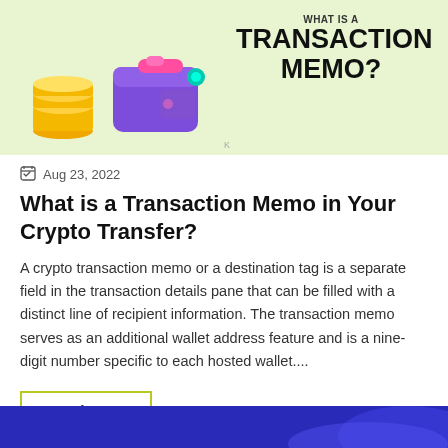[Figure (illustration): Header image with light green background showing a purple 3D wallet, gold coin stack, and bold text 'TRANSACTION MEMO?' on the right side]
Aug 23, 2022
What is a Transaction Memo in Your Crypto Transfer?
A crypto transaction memo or a destination tag is a separate field in the transaction details pane that can be filled with a distinct line of recipient information. The transaction memo serves as an additional wallet address feature and is a nine-digit number specific to each hosted wallet....
Read More